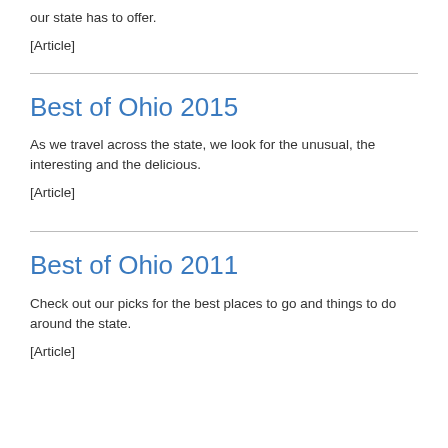our state has to offer.
[Article]
Best of Ohio 2015
As we travel across the state, we look for the unusual, the interesting and the delicious.
[Article]
Best of Ohio 2011
Check out our picks for the best places to go and things to do around the state.
[Article]